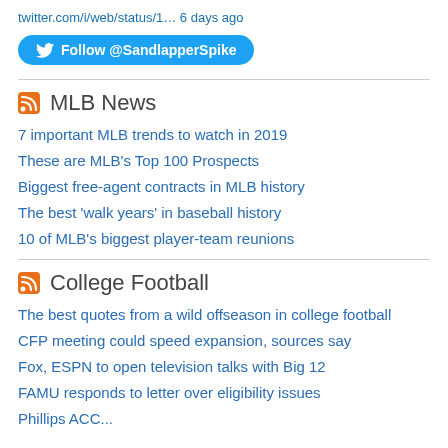twitter.com/i/web/status/1… 6 days ago
[Figure (other): Twitter Follow button for @SandlapperSpike]
MLB News
7 important MLB trends to watch in 2019
These are MLB's Top 100 Prospects
Biggest free-agent contracts in MLB history
The best 'walk years' in baseball history
10 of MLB's biggest player-team reunions
College Football
The best quotes from a wild offseason in college football
CFP meeting could speed expansion, sources say
Fox, ESPN to open television talks with Big 12
FAMU responds to letter over eligibility issues
Phillips ACC...